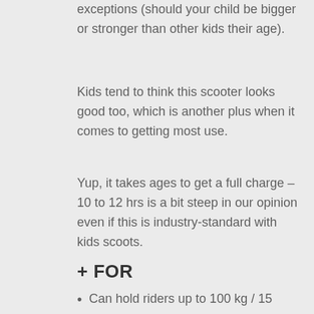exceptions (should your child be bigger or stronger than other kids their age).
Kids tend to think this scooter looks good too, which is another plus when it comes to getting most use.
Yup, it takes ages to get a full charge – 10 to 12 hrs is a bit steep in our opinion even if this is industry-standard with kids scoots.
+ FOR
Can hold riders up to 100 kg / 15 stone
Fits teens, and adults
Very quiet motor